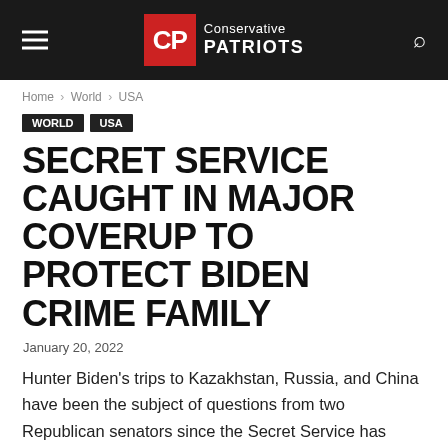CP Conservative PATRIOTS
Home > World > USA
World  USA
SECRET SERVICE CAUGHT IN MAJOR COVERUP TO PROTECT BIDEN CRIME FAMILY
January 20, 2022
Hunter Biden's trips to Kazakhstan, Russia, and China have been the subject of questions from two Republican senators since the Secret Service has refused to provide details.
JOIN OUR TELEGRAM CHANEL HERE: